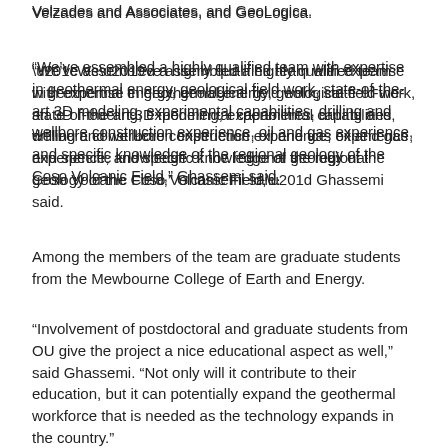Velzades and Associates, and GeoLogica.
“We’ve assembled a highly qualified team with expertise in geothermal energy, geological field work, state-of-the-art 3D modeling, experimental capabilities, drilling and wellbore construction experience, oil and gas experience, and specific knowledge of the regional geology of the Coso Volcanic Field,” Ghassemi said.
Among the members of the team are graduate students from the Mewbourne College of Earth and Energy.
“Involvement of postdoctoral and graduate students from OU give the project a nice educational aspect as well,” said Ghassemi. “Not only will it contribute to their education, but it can potentially expand the geothermal workforce that is needed as the technology expands in the country.”